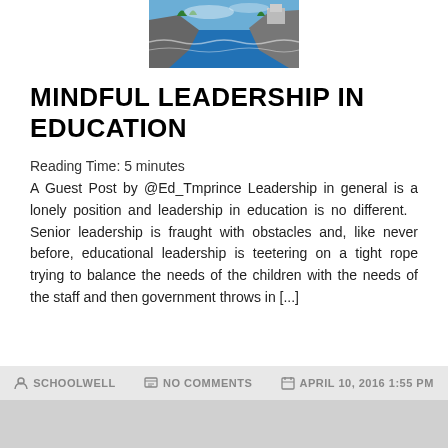[Figure (photo): Aerial photo of a rocky coastline with ocean waves and a building, cropped at top]
MINDFUL LEADERSHIP IN EDUCATION
Reading Time: 5 minutes
A Guest Post by @Ed_Tmprince Leadership in general is a lonely position and leadership in education is no different.   Senior leadership is fraught with obstacles and, like never before, educational leadership is teetering on a tight rope trying to balance the needs of the children with the needs of the staff and then government throws in [...]
SCHOOLWELL   NO COMMENTS   APRIL 10, 2016 1:55 PM